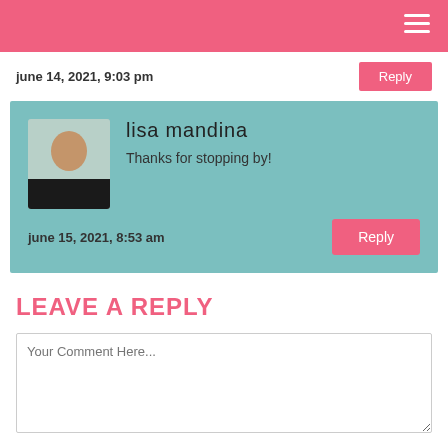june 14, 2021, 9:03 pm
lisa mandina
Thanks for stopping by!
june 15, 2021, 8:53 am
LEAVE A REPLY
Your Comment Here...
Name *